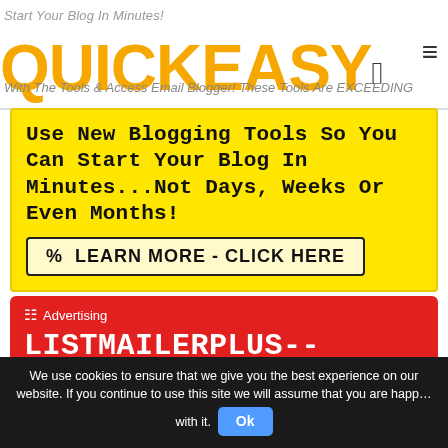QUICKEASY
Use New Blogging Tools So You Can Start Your Blog In Minutes...Not Days, Weeks Or Even Months!
LEARN MORE - CLICK HERE
Advertising
LISTMAILERPLUS-- COMPLETE EMAIL MARKETING SYSTEM!
EVERY TOOL YOU NEED TO GROW YOUR LISTS. GREAT REFERRAL INCOME.LET'S
We use cookies to ensure that we give you the best experience on our website. If you continue to use this site we will assume that you are happy with it. Ok